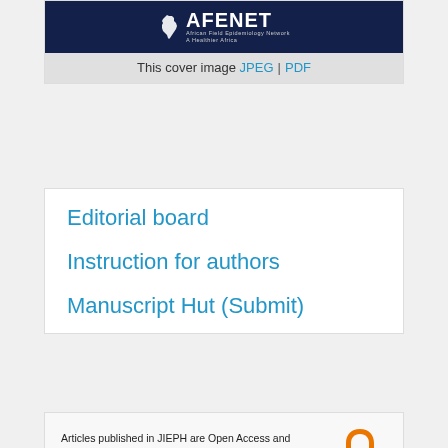[Figure (logo): AFENET logo on dark navy background with Africa continent silhouette icon]
This cover image JPEG | PDF
Editorial board
Instruction for authors
Manuscript Hut (Submit)
Articles published in JIEPH are Open Access and distributed under the terms of the Creative Commons Attribution 4.0 International (CC BY 4.0).
[Figure (logo): Open Access orange lock icon]
The Journal of Interventional Epidemiology and